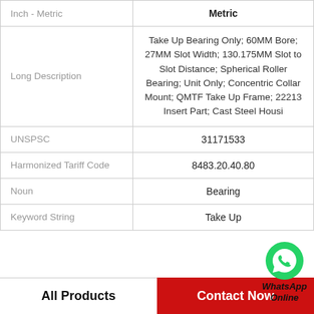| Attribute | Value |
| --- | --- |
| Inch - Metric | Metric |
| Long Description | Take Up Bearing Only; 60MM Bore; 27MM Slot Width; 130.175MM Slot to Slot Distance; Spherical Roller Bearing; Unit Only; Concentric Collar Mount; QMTF Take Up Frame; 22213 Insert Part; Cast Steel Housi |
| UNSPSC | 31171533 |
| Harmonized Tariff Code | 8483.20.40.80 |
| Noun | Bearing |
| Keyword String | Take Up |
[Figure (logo): WhatsApp green phone icon with WhatsApp Online text]
All Products    Contact Now